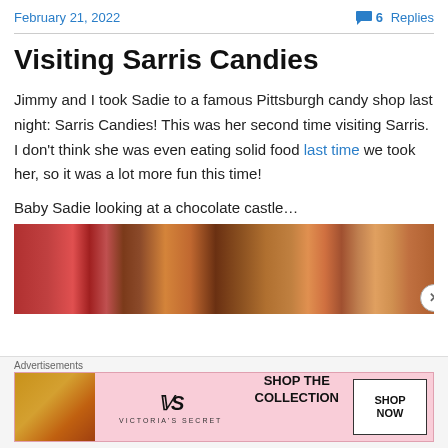February 21, 2022   💬 6 Replies
Visiting Sarris Candies
Jimmy and I took Sadie to a famous Pittsburgh candy shop last night: Sarris Candies! This was her second time visiting Sarris. I don't think she was even eating solid food last time we took her, so it was a lot more fun this time!
Baby Sadie looking at a chocolate castle…
[Figure (photo): Colorful candy shop interior with chocolates and decorations]
Advertisements
[Figure (infographic): Victoria's Secret advertisement banner: SHOP THE COLLECTION / SHOP NOW]